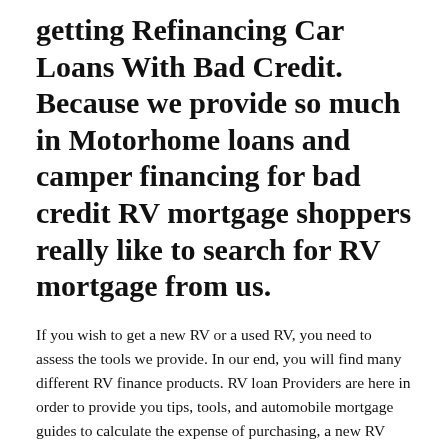getting Refinancing Car Loans With Bad Credit. Because we provide so much in Motorhome loans and camper financing for bad credit RV mortgage shoppers really like to search for RV mortgage from us.
If you wish to get a new RV or a used RV, you need to assess the tools we provide. In our end, you will find many different RV finance products. RV loan Providers are here in order to provide you tips, tools, and automobile mortgage guides to calculate the expense of purchasing, a new RV with yearly payments of $10,000.